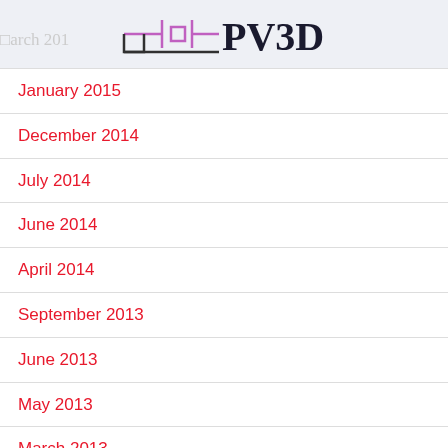PV3D
January 2015
December 2014
July 2014
June 2014
April 2014
September 2013
June 2013
May 2013
March 2013
February 2013